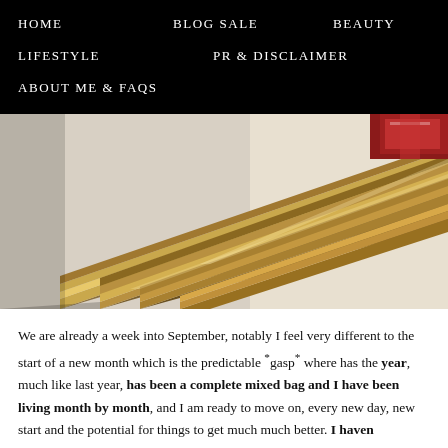HOME   BLOG SALE   BEAUTY   LIFESTYLE   PR & DISCLAIMER   ABOUT ME & FAQs
[Figure (photo): Close-up of stacked gold-framed items on a light surface, with a red object visible in the upper right corner.]
We are already a week into September, notably I feel very different to the start of a new month which is the predictable *gasp* where has the year, much like last year, has been a complete mixed bag and I have been living month by month, and I am ready to move on, every new day, new start and the potential for things to get much much better. I haven